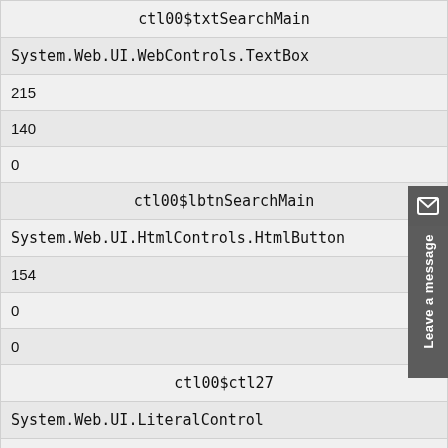| ctl00$txtSearchMain |
| System.Web.UI.WebControls.TextBox |
| 215 |
| 140 |
| 0 |
| ctl00$lbtnSearchMain |
| System.Web.UI.HtmlControls.HtmlButton |
| 154 |
| 0 |
| 0 |
| ctl00$ctl27 |
| System.Web.UI.LiteralControl |
| 39 |
| 0 |
| 0 |
| ctl00$contentMain |